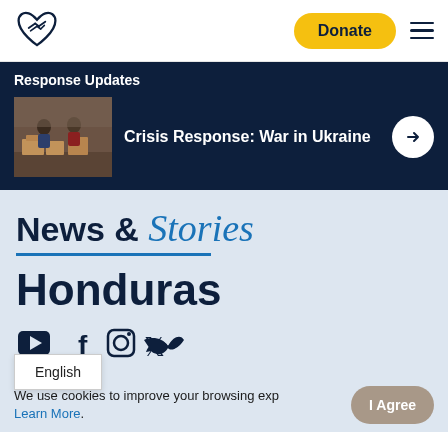[Figure (logo): Handshake heart logo icon in dark navy outline]
Donate
Response Updates
[Figure (photo): People working with boxes/supplies, aid distribution scene]
Crisis Response: War in Ukraine
News & Stories
Honduras
[Figure (infographic): Social media icons: YouTube, Facebook, Instagram, Twitter]
We use cookies to improve your browsing experience. Learn More.
English
I Agree